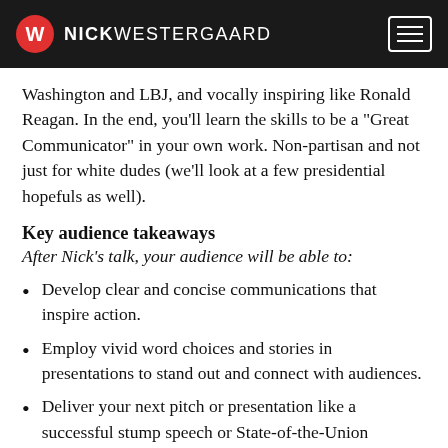NICK WESTERGAARD
Washington and LBJ, and vocally inspiring like Ronald Reagan. In the end, you'll learn the skills to be a “Great Communicator” in your own work. Non-partisan and not just for white dudes (we'll look at a few presidential hopefuls as well).
Key audience takeaways
After Nick’s talk, your audience will be able to:
Develop clear and concise communications that inspire action.
Employ vivid word choices and stories in presentations to stand out and connect with audiences.
Deliver your next pitch or presentation like a successful stump speech or State-of-the-Union